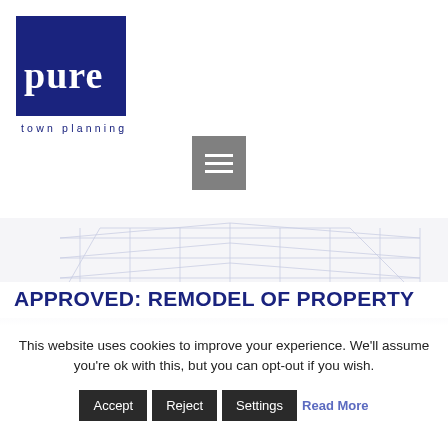[Figure (logo): Pure Town Planning logo — dark navy blue square with 'pure' in white serif text and 'town planning' below in smaller white text]
[Figure (other): Grey hamburger menu button with three white horizontal lines]
[Figure (illustration): Architectural blueprint-style line drawing of a building structure in light blue/grey tones forming a hero banner background]
APPROVED: REMODEL OF PROPERTY
This website uses cookies to improve your experience. We'll assume you're ok with this, but you can opt-out if you wish.
Accept  Reject  Settings  Read More